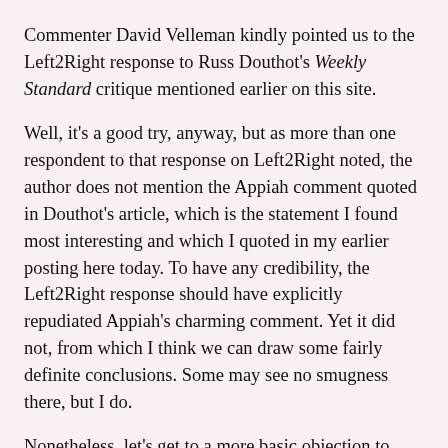Commenter David Velleman kindly pointed us to the Left2Right response to Russ Douthot's Weekly Standard critique mentioned earlier on this site.
Well, it's a good try, anyway, but as more than one respondent to that response on Left2Right noted, the author does not mention the Appiah comment quoted in Douthot's article, which is the statement I found most interesting and which I quoted in my earlier posting here today. To have any credibility, the Left2Right response should have explicitly repudiated Appiah's charming comment. Yet it did not, from which I think we can draw some fairly definite conclusions. Some may see no smugness there, but I do.
Nonetheless, let's get to a more basic objection to Left2Right, which is its mission: to make the present-day Left more politically palatable. That is a fool's errand. The Left cannot become more politically palatable without dropping its basic premises, for those assumptions and attitudes are what make comments such as Appiah's both possible and all too representative of the Left's attitudes toward the vast majority of their neighbors. The only real solution likely comes from how conservatives in the United S...